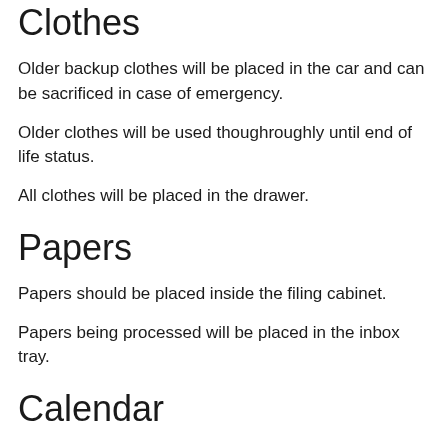Clothes
Older backup clothes will be placed in the car and can be sacrificed in case of emergency.
Older clothes will be used thoughroughly until end of life status.
All clothes will be placed in the drawer.
Papers
Papers should be placed inside the filing cabinet.
Papers being processed will be placed in the inbox tray.
Calendar
Place events in Calendar.
C…